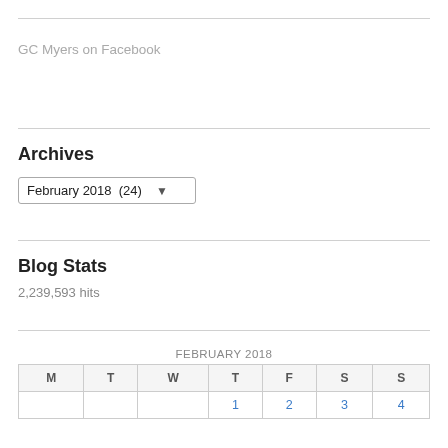GC Myers on Facebook
Archives
February 2018  (24)
Blog Stats
2,239,593 hits
| M | T | W | T | F | S | S |
| --- | --- | --- | --- | --- | --- | --- |
|  |  |  | 1 | 2 | 3 | 4 |